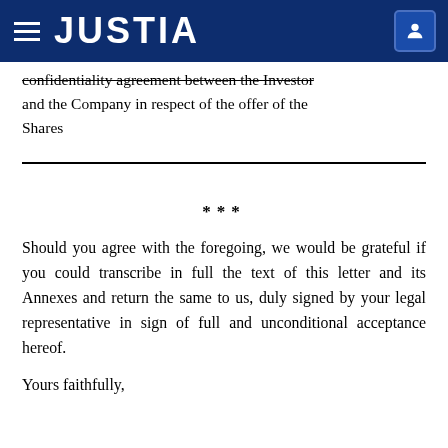JUSTIA
confidentiality agreement between the Investor and the Company in respect of the offer of the Shares
***
Should you agree with the foregoing, we would be grateful if you could transcribe in full the text of this letter and its Annexes and return the same to us, duly signed by your legal representative in sign of full and unconditional acceptance hereof.
Yours faithfully,